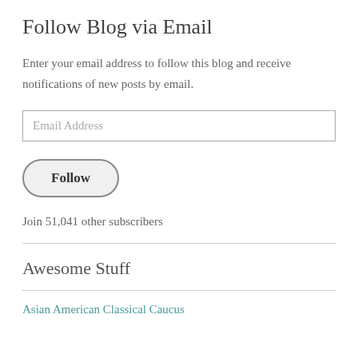Follow Blog via Email
Enter your email address to follow this blog and receive notifications of new posts by email.
Email Address
Follow
Join 51,041 other subscribers
Awesome Stuff
Asian American Classical Caucus